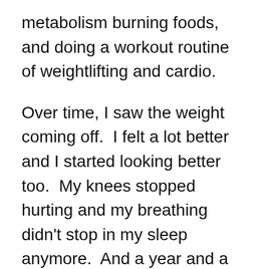metabolism burning foods, and doing a workout routine of weightlifting and cardio.
Over time, I saw the weight coming off.  I felt a lot better and I started looking better too.  My knees stopped hurting and my breathing didn't stop in my sleep anymore.  And a year and a half after saying that prayer, I finally reached my goal of two hundred and twenty-five pounds.  I continued my routine since